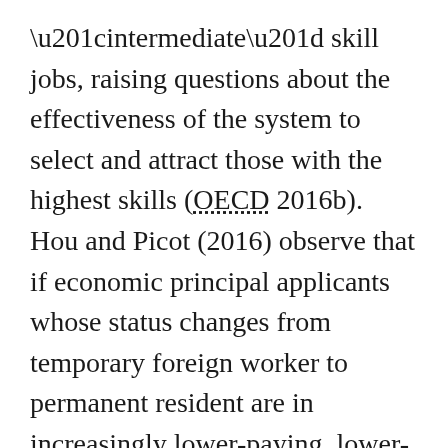“intermediate” skill jobs, raising questions about the effectiveness of the system to select and attract those with the highest skills (OECD 2016b). Hou and Picot (2016) observe that if economic principal applicants whose status changes from temporary foreign worker to permanent resident are in increasingly lower-paying, lower-skilled jobs, then entry earnings of immigrants may fall in the future, despite them having Canadian work experience.
The federal government has recently modified its Express Entry program to make